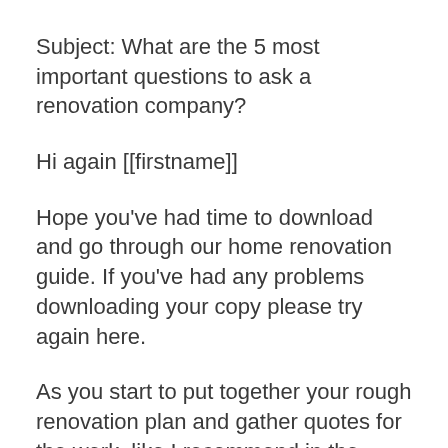Subject: What are the 5 most important questions to ask a renovation company?
Hi again [[firstname]]
Hope you've had time to download and go through our home renovation guide. If you've had any problems downloading your copy please try again here.
As you start to put together your rough renovation plan and gather quotes for the work, like I recommend in the guide, you'll start thinking about who you should hire to actually